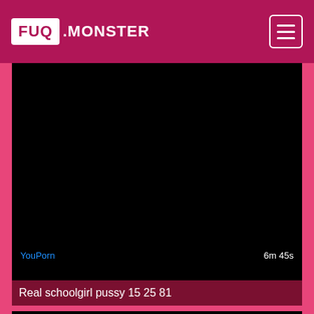FUQ .MONSTER
[Figure (screenshot): Black video player area with YouPorn label in blue at bottom left and '6m 45s' duration at bottom right]
Real schoolgirl pussy 15 25 81
[Figure (screenshot): Partial black video preview at the bottom of the page]